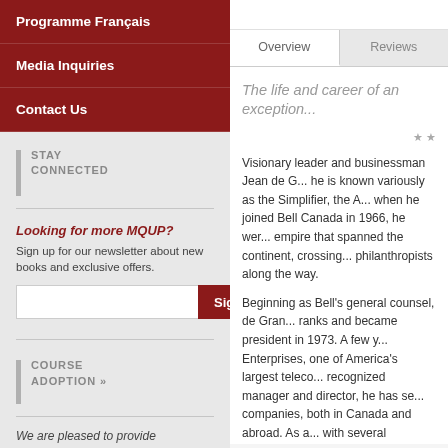Programme Français
Media Inquiries
Contact Us
STAY CONNECTED
Looking for more MQUP? Sign up for our newsletter about new books and exclusive offers.
COURSE ADOPTION »
We are pleased to provide examination or desk copies to professors. Click for more information ›
Overview | Reviews
The life and career of an exception...
Visionary leader and businessman Jean de G... he is known variously as the Simplifier, the A... when he joined Bell Canada in 1966, he we... empire that spanned the continent, crossing... philanthropists along the way.
Beginning as Bell's general counsel, de Gra... ranks and became president in 1973. A few y... Enterprises, one of America's largest teleco... recognized manager and director, he has se... companies, both in Canada and abroad. As a... with several charities, including the Papillon... children. At McGill University, his alma mate... 1984 to 1991 and is now governor emeritus...